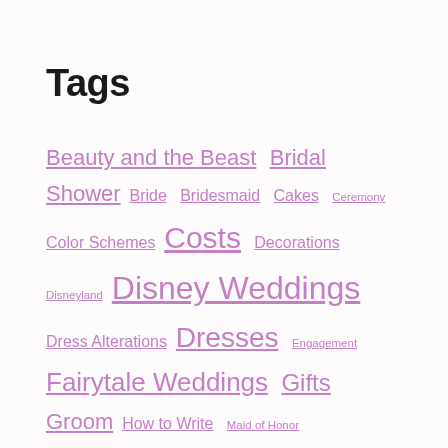Tags
Beauty and the Beast  Bridal Shower  Bride  Bridesmaid  Cakes  Ceremony  Color Schemes  Costs  Decorations  Disneyland  Disney Weddings  Dress Alterations  Dresses  Engagement  Fairytale Weddings  Gifts  Groom  How to Write  Maid of Honor  Planning  Proposals  Reception  Rings  Songs  Speeches  Star Wars Weddings  Themes  Venues  Vows  What to Wear